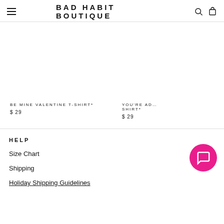BAD HABIT BOUTIQUE
[Figure (other): Product image area for BE MINE VALENTINE T-SHIRT*]
BE MINE VALENTINE T-SHIRT*
$ 29
[Figure (other): Product image area for YOU'RE AD... SHIRT*]
YOU'RE AD... SHIRT*
$ 29
HELP
Size Chart
Shipping
Holiday Shipping Guidelines